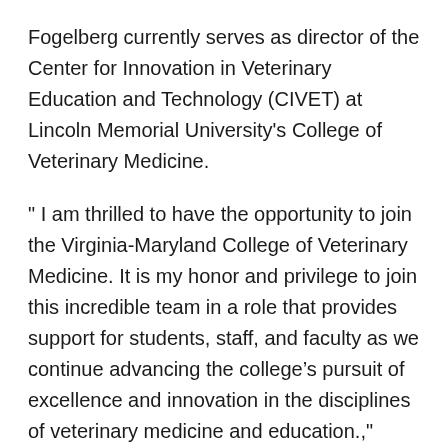Fogelberg currently serves as director of the Center for Innovation in Veterinary Education and Technology (CIVET) at Lincoln Memorial University's College of Veterinary Medicine.
" I am thrilled to have the opportunity to join the Virginia-Maryland College of Veterinary Medicine. It is my honor and privilege to join this incredible team in a role that provides support for students, staff, and faculty as we continue advancing the college’s pursuit of excellence and innovation in the disciplines of veterinary medicine and education.,"